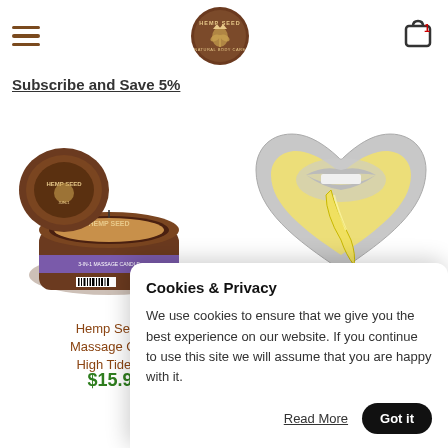Hemp Seed Natural Body Care — menu, logo, cart (1 item)
Subscribe and Save 5%
[Figure (photo): Hemp Seed 3-in-1 Massage Candle, round brown tin with purple label, shown with lid off beside it]
[Figure (photo): Heart-shaped silver tin candle showing a person's mouth biting a banana, opened candle with yellow wax]
Hemp Seed Massage Candle High Tide S
$15.9
$15.99
Cookies & Privacy
We use cookies to ensure that we give you the best experience on our website. If you continue to use this site we will assume that you are happy with it.
Read More  Got it